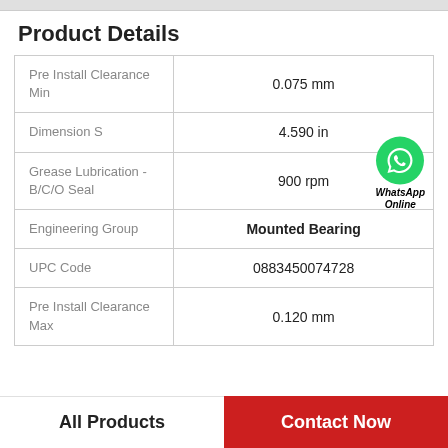Product Details
| Property | Value |
| --- | --- |
| Pre Install Clearance Min | 0.075 mm |
| Dimension S | 4.590 in |
| Grease Lubrication - B/C/O Seal | 900 rpm |
| Engineering Group | Mounted Bearing |
| UPC Code | 0883450074728 |
| Pre Install Clearance Max | 0.120 mm |